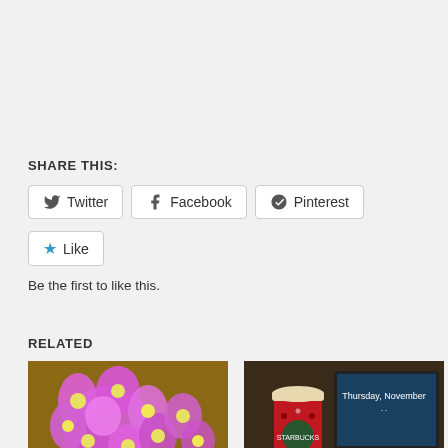SHARE THIS:
Twitter
Facebook
Pinterest
Like
Be the first to like this.
RELATED
[Figure (photo): Pink flowers (daisies/chrysanthemums) on a wooden surface]
Vanilla Contract First Date
April 3, 2015
In "Vanilla Contract"
[Figure (photo): Starbucks red holiday cup next to a laptop showing 'Thursday, November' on screen]
BB Episode 3: The Third Ship Scene 3
November 26, 2015
In "The Beautician and the